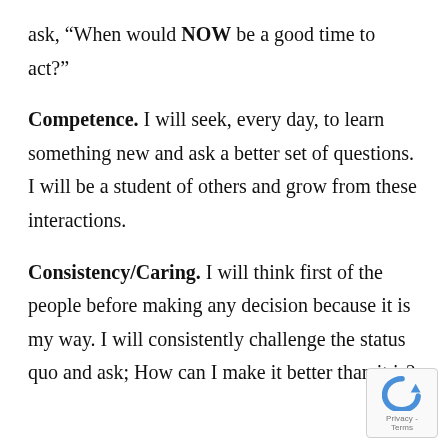ask, “When would NOW be a good time to act?”
Competence. I will seek, every day, to learn something new and ask a better set of questions. I will be a student of others and grow from these interactions.
Consistency/Caring. I will think first of the people before making any decision because it is my way. I will consistently challenge the status quo and ask; How can I make it better than it is?